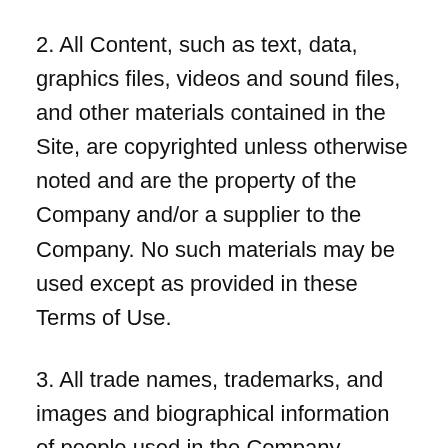2. All Content, such as text, data, graphics files, videos and sound files, and other materials contained in the Site, are copyrighted unless otherwise noted and are the property of the Company and/or a supplier to the Company. No such materials may be used except as provided in these Terms of Use.
3. All trade names, trademarks, and images and biographical information of people used in the Company Content and contained in the Site, including without limitation the name and trademark “[INSERT COMPANY TRADEMARKS]”, are either the property of, or used with permission by, the Company. The use of Content by you is strictly prohibited unless specifically